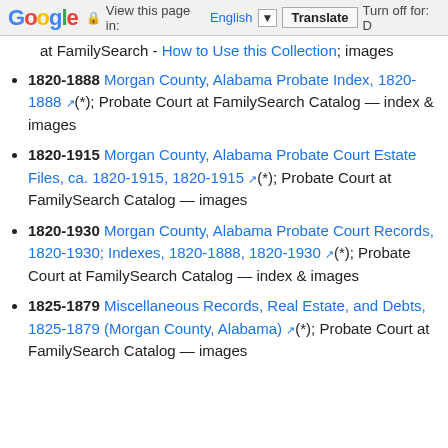Google | View this page in: English | Translate | Turn off for: D
at FamilySearch - How to Use this Collection; images
1820-1888 Morgan County, Alabama Probate Index, 1820-1888 (*); Probate Court at FamilySearch Catalog — index & images
1820-1915 Morgan County, Alabama Probate Court Estate Files, ca. 1820-1915, 1820-1915 (*); Probate Court at FamilySearch Catalog — images
1820-1930 Morgan County, Alabama Probate Court Records, 1820-1930; Indexes, 1820-1888, 1820-1930 (*); Probate Court at FamilySearch Catalog — index & images
1825-1879 Miscellaneous Records, Real Estate, and Debts, 1825-1879 (Morgan County, Alabama) (*); Probate Court at FamilySearch Catalog — images